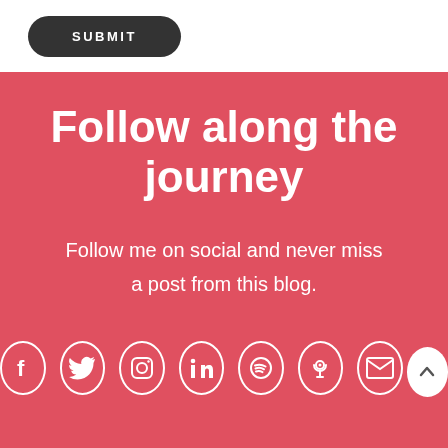[Figure (other): SUBMIT button with dark rounded background]
Follow along the journey
Follow me on social and never miss a post from this blog.
[Figure (other): Row of social media icons: Facebook, Twitter, Instagram, LinkedIn, Spotify, Podcast, Email, and a scroll-to-top button]